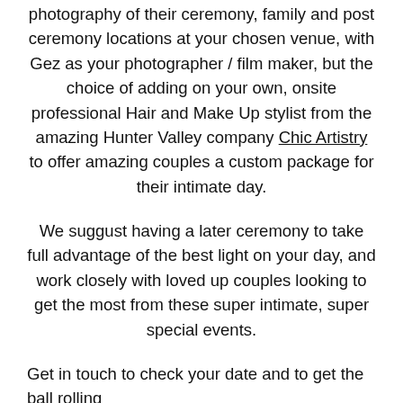photography of their ceremony, family and post ceremony locations at your chosen venue, with Gez as your photographer / film maker, but the choice of adding on your own, onsite professional Hair and Make Up stylist from the amazing Hunter Valley company Chic Artistry to offer amazing couples a custom package for their intimate day.
We suggust having a later ceremony to take full advantage of the best light on your day, and work closely with loved up couples looking to get the most from these super intimate, super special events.
Get in touch to check your date and to get the ball rolling